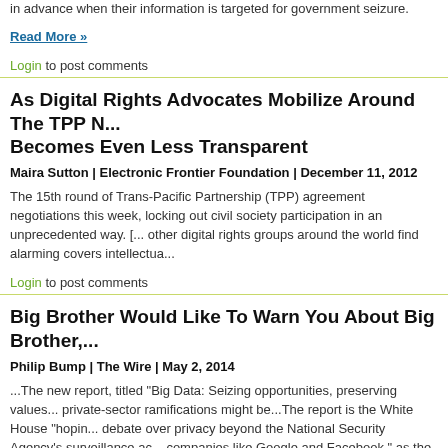in advance when their information is targeted for government seizure.
Read More »
Login to post comments
As Digital Rights Advocates Mobilize Around The TPP N... Becomes Even Less Transparent
Maira Sutton | Electronic Frontier Foundation | December 11, 2012
The 15th round of Trans-Pacific Partnership (TPP) agreement negotiations this week, locking out civil society participation in an unprecedented way. [... other digital rights groups around the world find alarming covers intellectua...
Login to post comments
Big Brother Would Like To Warn You About Big Brother,...
Philip Bump | The Wire | May 2, 2014
...The new report, titled "Big Data: Seizing opportunities, preserving values... private-sector ramifications might be...The report is the White House "hopin... debate over privacy beyond the National Security Agency's surveillance ac... companies like Google and Facebook," as the paper puts it...
Read More »